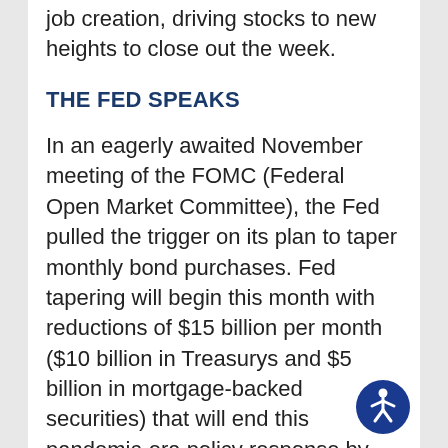job creation, driving stocks to new heights to close out the week.
THE FED SPEAKS
In an eagerly awaited November meeting of the FOMC (Federal Open Market Committee), the Fed pulled the trigger on its plan to taper monthly bond purchases. Fed tapering will begin this month with reductions of $15 billion per month ($10 billion in Treasurys and $5 billion in mortgage-backed securities) that will end this pandemic-era policy response by July 2022.
[Figure (illustration): Accessibility icon — blue circle with white person/wheelchair symbol]